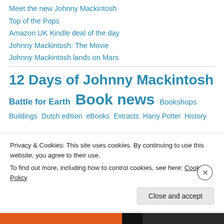Meet the new Johnny Mackintosh
Top of the Pops
Amazon UK Kindle deal of the day
Johnny Mackintosh: The Movie
Johnny Mackintosh lands on Mars
12 Days of Johnny Mackintosh
Battle for Earth  Book news  Bookshops  Buildings  Dutch edition  eBooks  Extracts  Harry Potter  History
Privacy & Cookies: This site uses cookies. By continuing to use this website, you agree to their use.
To find out more, including how to control cookies, see here: Cookie Policy